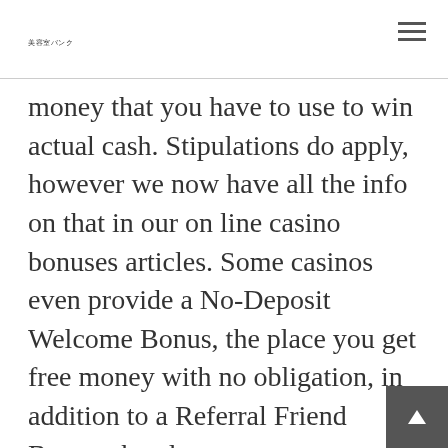美容室バンク
money that you have to use to win actual cash. Stipulations do apply, however we now have all the info on that in our on line casino bonuses articles. Some casinos even provide a No-Deposit Welcome Bonus, the place you get free money with no obligation, in addition to a Referral Friend Bonus, the place gamers are rewarded for inviting pals to affix in on the enjoyable. Once the deposit has been made to your account on the online casino, you shall be able to begin takin…